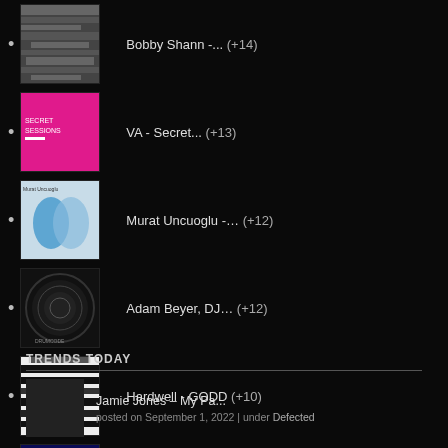Bobby Shann -... (+14)
VA - Secret... (+13)
Murat Uncuoglu -... (+12)
Adam Beyer, DJ... (+12)
Hardwell - GODD (+10)
Grooveyard - Mary... (+9)
TRENDS TODAY
Jamie Jones – My Pa...
posted on September 1, 2022 | under Defected